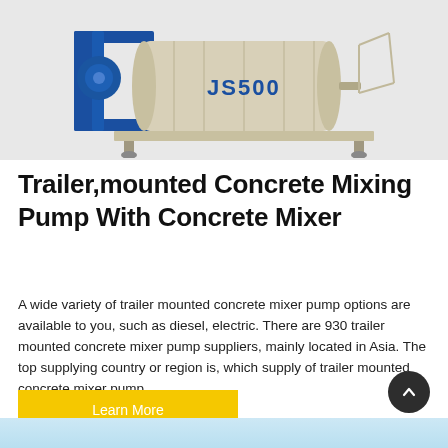[Figure (photo): Photo of a JS500 twin-shaft concrete mixer mounted on a blue steel frame, shown against a light grey background.]
Trailer,mounted Concrete Mixing Pump With Concrete Mixer
A wide variety of trailer mounted concrete mixer pump options are available to you, such as diesel, electric. There are 930 trailer mounted concrete mixer pump suppliers, mainly located in Asia. The top supplying country or region is, which supply of trailer mounted concrete mixer pump
Learn More